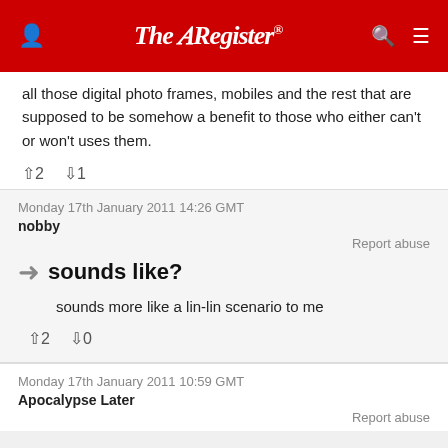The Register
all those digital photo frames, mobiles and the rest that are supposed to be somehow a benefit to those who either can't or won't uses them.
↑2  ↓1
Monday 17th January 2011 14:26 GMT
nobby
Report abuse
sounds like?
sounds more like a lin-lin scenario to me
↑2  ↓0
Monday 17th January 2011 10:59 GMT
Apocalypse Later
Report abuse